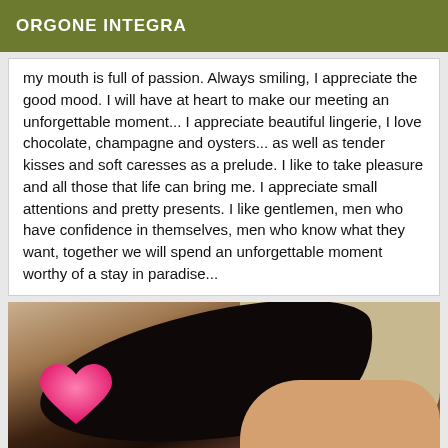ORGONE INTEGRA
my mouth is full of passion. Always smiling, I appreciate the good mood. I will have at heart to make our meeting an unforgettable moment... I appreciate beautiful lingerie, I love chocolate, champagne and oysters... as well as tender kisses and soft caresses as a prelude. I like to take pleasure and all those that life can bring me. I appreciate small attentions and pretty presents. I like gentlemen, men who have confidence in themselves, men who know what they want, together we will spend an unforgettable moment worthy of a stay in paradise...
[Figure (photo): Photo of a woman lying on a bed, face covered with a pink heart emoji overlay, dark hair visible, partial body view]